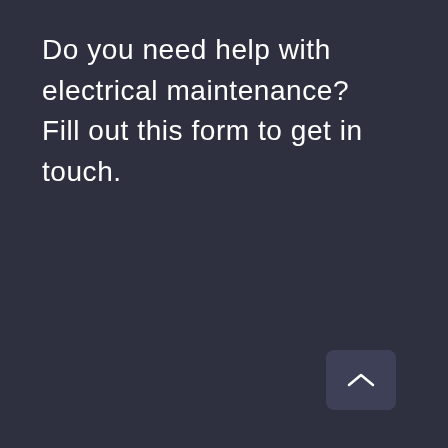Do you need help with electrical maintenance? Fill out this form to get in touch.
[Figure (other): A scroll-up chevron button in the bottom right area of the dark background page]